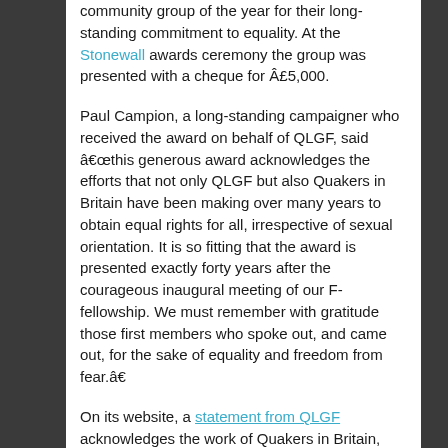community group of the year for their long-standing commitment to equality. At the Stonewall awards ceremony the group was presented with a cheque for £5,000.
Paul Campion, a long-standing campaigner who received the award on behalf of QLGF, said “this generous award acknowledges the efforts that not only QLGF but also Quakers in Britain have been making over many years to obtain equal rights for all, irrespective of sexual orientation. It is so fitting that the award is presented exactly forty years after the courageous inaugural meeting of our F-fellowship. We must remember with gratitude those first members who spoke out, and came out, for the sake of equality and freedom from fear.”
On its website, a statement from QLGF acknowledges the work of Quakers in Britain, and “in particular the Young Friends General Meeting, in working for true equality for all before God.” Young Friends General Meeting is a gathering of young adult Quakers across Britain